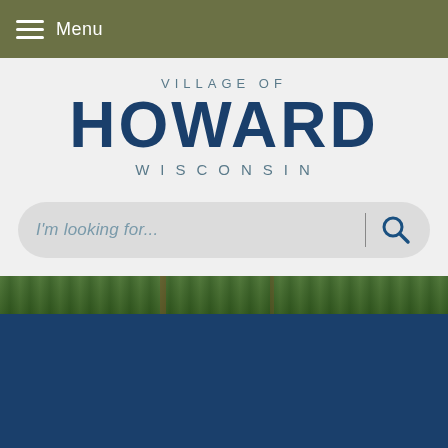Menu
VILLAGE OF HOWARD WISCONSIN
I'm looking for...
[Figure (photo): Green grass strip and dark navy blue background area representing outdoor scenery of Howard, Wisconsin]